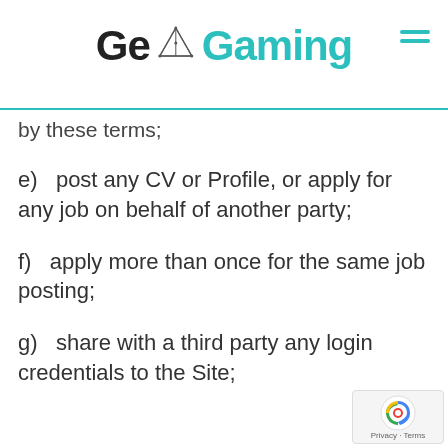Geo Gaming
by these terms;
e)   post any CV or Profile, or apply for any job on behalf of another party;
f)   apply more than once for the same job posting;
g)   share with a third party any login credentials to the Site;